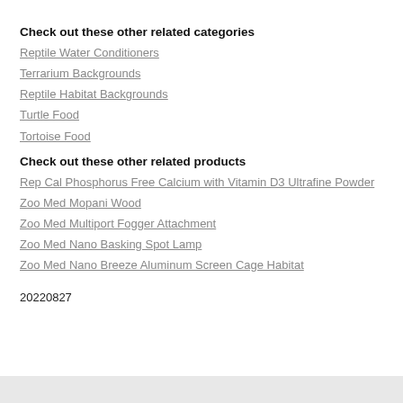Check out these other related categories
Reptile Water Conditioners
Terrarium Backgrounds
Reptile Habitat Backgrounds
Turtle Food
Tortoise Food
Check out these other related products
Rep Cal Phosphorus Free Calcium with Vitamin D3 Ultrafine Powder
Zoo Med Mopani Wood
Zoo Med Multiport Fogger Attachment
Zoo Med Nano Basking Spot Lamp
Zoo Med Nano Breeze Aluminum Screen Cage Habitat
20220827